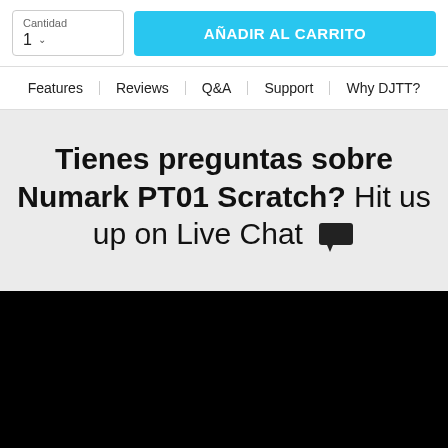Cantidad
1
AÑADIR AL CARRITO
Features | Reviews | Q&A | Support | Why DJTT?
Tienes preguntas sobre Numark PT01 Scratch? Hit us up on Live Chat 💬
[Figure (other): Black rectangle filling the bottom portion of the page]